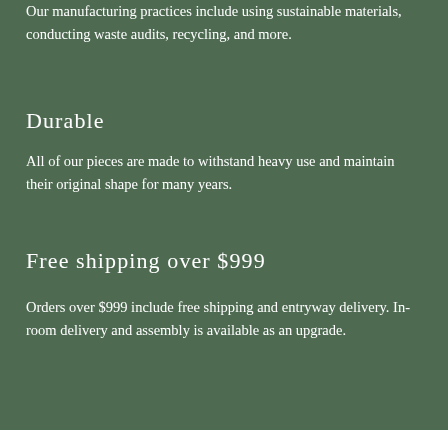Our manufacturing practices include using sustainable materials, conducting waste audits, recycling, and more.
Durable
All of our pieces are made to withstand heavy use and maintain their original shape for many years.
Free shipping over $999
Orders over $999 include free shipping and entryway delivery. In-room delivery and assembly is available as an upgrade.